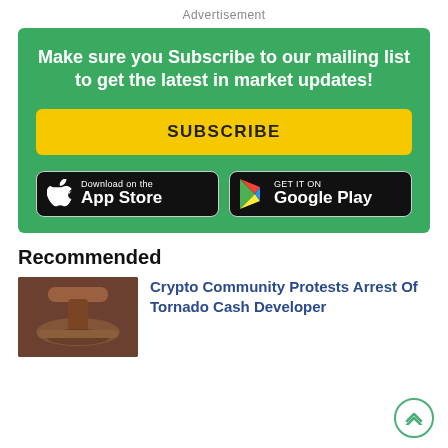Advertisement
[Figure (infographic): Green subscription call-to-action banner with text 'Make sure you Subscribe to our mailing list to get the latest in market updates!', a yellow SUBSCRIBE button, and App Store / Google Play download buttons.]
Recommended
[Figure (photo): Photo of a wooden judge's gavel on a dark background.]
Crypto Community Protests Arrest Of Tornado Cash Developer